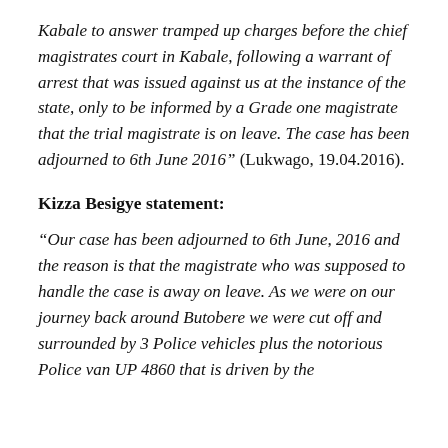Kabale to answer tramped up charges before the chief magistrates court in Kabale, following a warrant of arrest that was issued against us at the instance of the state, only to be informed by a Grade one magistrate that the trial magistrate is on leave. The case has been adjourned to 6th June 2016” (Lukwago, 19.04.2016).
Kizza Besigye statement:
“Our case has been adjourned to 6th June, 2016 and the reason is that the magistrate who was supposed to handle the case is away on leave. As we were on our journey back around Butobere we were cut off and surrounded by 3 Police vehicles plus the notorious Police van UP 4860 that is driven by the